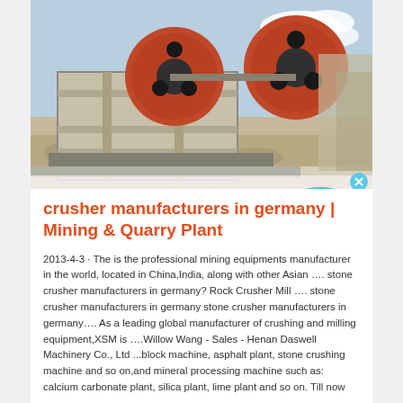[Figure (photo): Industrial jaw crusher machine with large red flywheel wheels at a quarry or mining site, photographed outdoors against a partly cloudy sky with gravel and stone in the background.]
crusher manufacturers in germany | Mining & Quarry Plant
2013-4-3 · The is the professional mining equipments manufacturer in the world, located in China,India, along with other Asian …. stone crusher manufacturers in germany? Rock Crusher Mill …. stone crusher manufacturers in germany stone crusher manufacturers in germany…. As a leading global manufacturer of crushing and milling equipment,XSM is ….Willow Wang - Sales - Henan Daswell Machinery Co., Ltd ...block machine, asphalt plant, stone crushing machine and so on,and mineral processing machine such as: calcium carbonate plant, silica plant, lime plant and so on. Till now